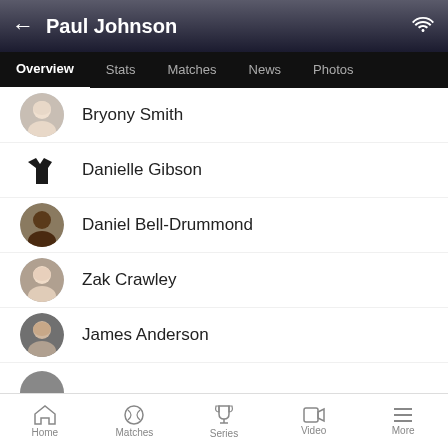Paul Johnson
Overview | Stats | Matches | News | Photos
Bryony Smith
Danielle Gibson
Daniel Bell-Drummond
Zak Crawley
James Anderson
Home | Matches | Series | Video | More